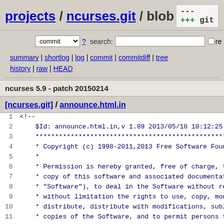projects / ncurses.git / blob
commit ? search: re
summary | shortlog | log | commit | commitdiff | tree history | raw | HEAD
ncurses 5.9 - patch 20150214
[ncurses.git] / announce.html.in
1 <!--
2     $Id: announce.html.in,v 1.89 2013/05/18 10:12:25 tom
3     ****************************************************
4     * Copyright (c) 1998-2011,2013 Free Software Foundati
5     *
6     * Permission is hereby granted, free of charge, to an
7     * copy of this software and associated documentation
8     * "Software"), to deal in the Software without restri
9     * without limitation the rights to use, copy, modify,
10    * distribute, distribute with modifications, sublicen
11    * copies of the Software, and to permit persons to wh
12    * furnished to do so, subject to the following conditi
13    *
14    * The above copyright notice and this permission noti
15    * in all copies or substantial portions of the Softwa
16    *
17    * THE SOFTWARE IS PROVIDED "AS IS", WITHOUT WARRANTY
18    * OR IMPLIED, INCLUDING BUT NOT LIMITED TO THE WARRAN
19    * MERCHANTABILITY, FITNESS FOR A PARTICULAR PURPOSE